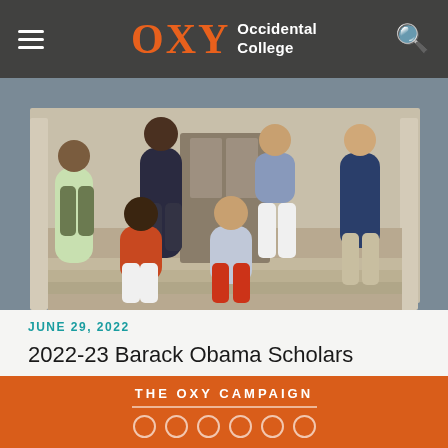OXY Occidental College
[Figure (photo): Group photo of several young people (Barack Obama Scholars) posing together on steps of a building with columns. Some are seated, some standing. Mix of casual and smart-casual attire.]
JUNE 29, 2022
2022-23 Barack Obama Scholars Selected for Re-Imagined Program
THE OXY CAMPAIGN